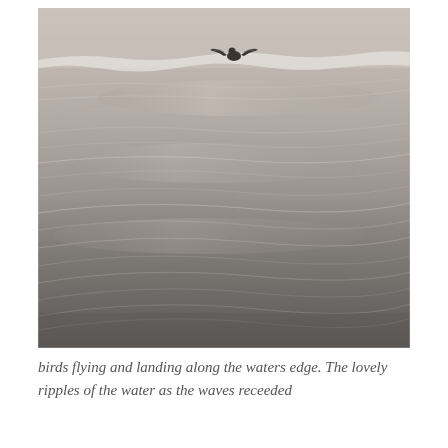[Figure (photo): A beach scene showing wet sand with ripples left by receding waves. A bird (seagull) is visible in the upper middle of the frame with wings spread, appearing to be flying or landing near the water's edge. The lighting is soft and muted, suggesting dawn or dusk. The foreground shows dark wet sand with diagonal wave-ripple patterns.]
birds flying and landing along the waters edge. The lovely ripples of the water as the waves receeded